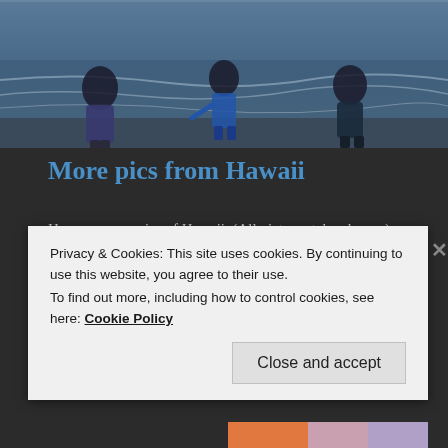[Figure (photo): Beach scene with three people standing at the water's edge with ocean waves, blue-toned photo taken at dusk or dawn]
More pics from Hawaii
Here are more pics of Hawaii. (All pictures taken by me)
Continue reading
LOVE-HATE RELATIONSHIP, VACATION
LEAVE A COMMENT
Privacy & Cookies: This site uses cookies. By continuing to use this website, you agree to their use. To find out more, including how to control cookies, see here: Cookie Policy
Close and accept